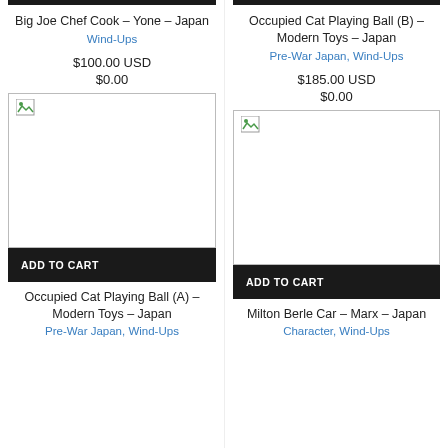[Figure (other): Broken image placeholder for Big Joe Chef Cook product]
Big Joe Chef Cook – Yone – Japan
Wind-Ups
$100.00 USD
$0.00
[Figure (other): Broken image placeholder for Occupied Cat Playing Ball (B) product]
Occupied Cat Playing Ball (B) – Modern Toys – Japan
Pre-War Japan, Wind-Ups
$185.00 USD
$0.00
[Figure (other): Broken image placeholder for Occupied Cat Playing Ball (A) product]
ADD TO CART
Occupied Cat Playing Ball (A) – Modern Toys – Japan
Pre-War Japan, Wind-Ups
[Figure (other): Broken image placeholder for Milton Berle Car product]
ADD TO CART
Milton Berle Car – Marx – Japan
Character, Wind-Ups